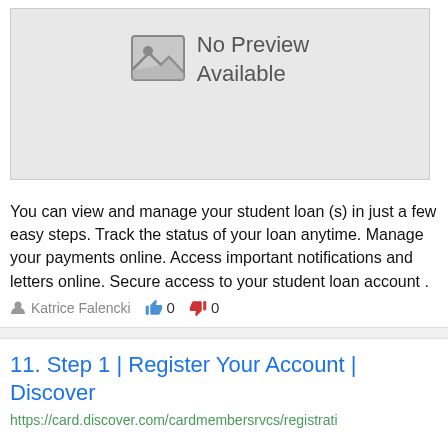[Figure (screenshot): No Preview Available placeholder image with a mountain/photo icon on the left and text 'No Preview Available' on the right, inside a gray bordered box]
You can view and manage your student loan (s) in just a few easy steps. Track the status of your loan anytime. Manage your payments online. Access important notifications and letters online. Secure access to your student loan account .
Katrice Falencki  0  0
11. Step 1 | Register Your Account | Discover
https://card.discover.com/cardmembersrvcs/registrati